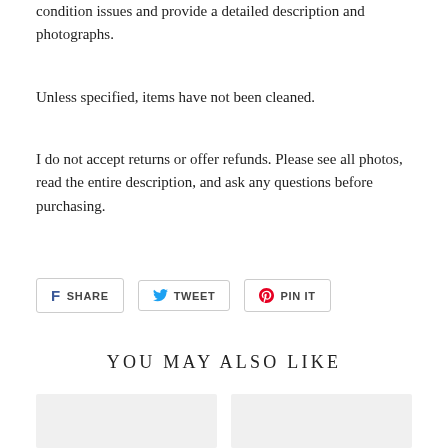condition issues and provide a detailed description and photographs.
Unless specified, items have not been cleaned.
I do not accept returns or offer refunds. Please see all photos, read the entire description, and ask any questions before purchasing.
[Figure (other): Social share buttons: SHARE (Facebook), TWEET (Twitter), PIN IT (Pinterest)]
YOU MAY ALSO LIKE
[Figure (other): Two product thumbnail images side by side (light gray placeholder boxes)]